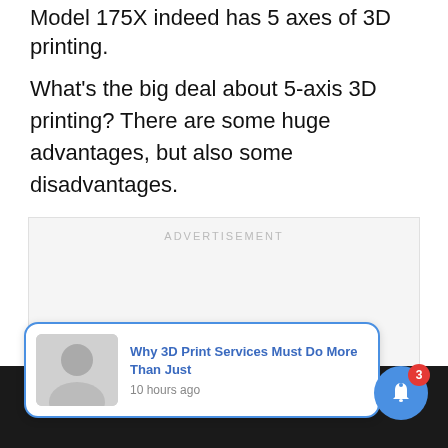Model 175X indeed has 5 axes of 3D printing.
What's the big deal about 5-axis 3D printing? There are some huge advantages, but also some disadvantages.
[Figure (other): Advertisement placeholder box with 'ADVERTISEMENT' label, a close (X) button overlay, and a notification popup card showing a thumbnail of a person, link text 'Why 3D Print Services Must Do More Than Just', timestamp '10 hours ago', and a blue bell icon button with badge showing 3.]